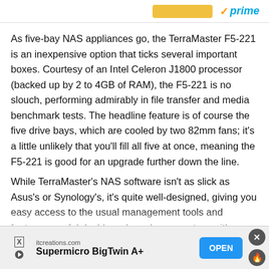[Figure (other): Top banner with Amazon Prime logo and buy button, partially visible]
As five-bay NAS appliances go, the TerraMaster F5-221 is an inexpensive option that ticks several important boxes. Courtesy of an Intel Celeron J1800 processor (backed up by 2 to 4GB of RAM), the F5-221 is no slouch, performing admirably in file transfer and media benchmark tests. The headline feature is of course the five drive bays, which are cooled by two 82mm fans; it's a little unlikely that you'll fill all five at once, meaning the F5-221 is good for an upgrade further down the line.
While TerraMaster's NAS software isn't as slick as Asus's or Synology's, it's quite well-designed, giving you easy access to the usual management tools and features, useful dashboards and an app store with a bewildering range of add-on apps. We did experience a few niggling setup issues, but assuming everything goes smoothly, this is a go
[Figure (screenshot): Advertisement banner: itcreations.com Supermicro BigTwin A+ with OPEN button and close/flame icons]